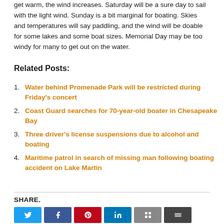get warm, the wind increases. Saturday will be a sure day to sail with the light wind. Sunday is a bit marginal for boating. Skies and temperatures will say paddling, and the wind will be doable for some lakes and some boat sizes. Memorial Day may be too windy for many to get out on the water.
Related Posts:
Water behind Promenade Park will be restricted during Friday's concert
Coast Guard searches for 70-year-old boater in Chesapeake Bay
Three driver's license suspensions due to alcohol and boating
Maritime patrol in search of missing man following boating accident on Lake Martin
SHARE.